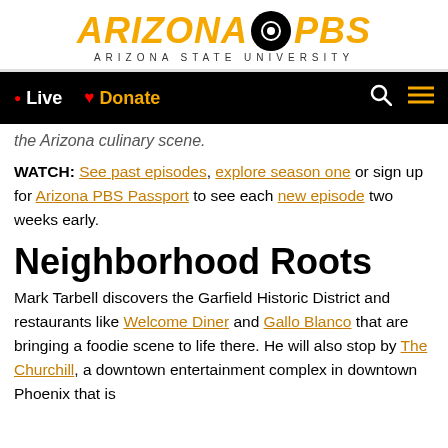[Figure (logo): Arizona PBS - Arizona State University logo with orange italic text and PBS circle emblem]
• Live  ♥ Donate  [search icon] [menu icon]
the Arizona culinary scene.
WATCH: See past episodes, explore season one or sign up for Arizona PBS Passport to see each new episode two weeks early.
Neighborhood Roots
Mark Tarbell discovers the Garfield Historic District and restaurants like Welcome Diner and Gallo Blanco that are bringing a foodie scene to life there. He will also stop by The Churchill, a downtown entertainment complex in downtown Phoenix that is